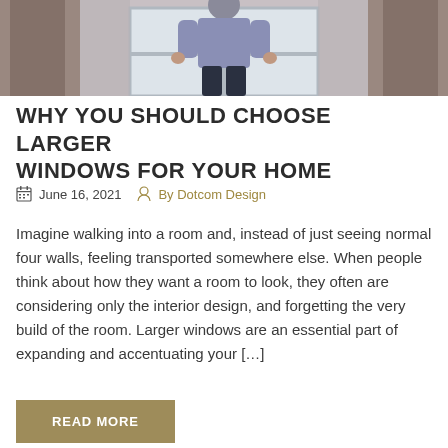[Figure (photo): A person standing at a window with curtains on either side, viewed from behind, wearing a blue-grey shirt and dark jeans. Natural light floods in through the window.]
WHY YOU SHOULD CHOOSE LARGER WINDOWS FOR YOUR HOME
June 16, 2021    By Dotcom Design
Imagine walking into a room and, instead of just seeing normal four walls, feeling transported somewhere else. When people think about how they want a room to look, they often are considering only the interior design, and forgetting the very build of the room. Larger windows are an essential part of expanding and accentuating your […]
READ MORE